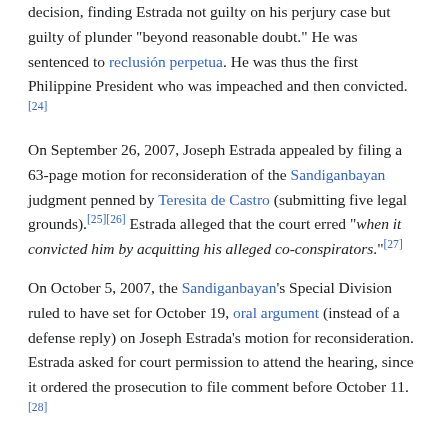decision, finding Estrada not guilty on his perjury case but guilty of plunder "beyond reasonable doubt." He was sentenced to reclusión perpetua. He was thus the first Philippine President who was impeached and then convicted.[24]
On September 26, 2007, Joseph Estrada appealed by filing a 63-page motion for reconsideration of the Sandiganbayan judgment penned by Teresita de Castro (submitting five legal grounds).[25][26] Estrada alleged that the court erred "when it convicted him by acquitting his alleged co-conspirators."[27]
On October 5, 2007, the Sandiganbayan's Special Division ruled to have set for October 19, oral argument (instead of a defense reply) on Joseph Estrada's motion for reconsideration. Estrada asked for court permission to attend the hearing, since it ordered the prosecution to file comment before October 11.[28]
Perjury case
The Sandiganbayan's special division, on June 27, 2008, ordered Estrada to file comment within 10